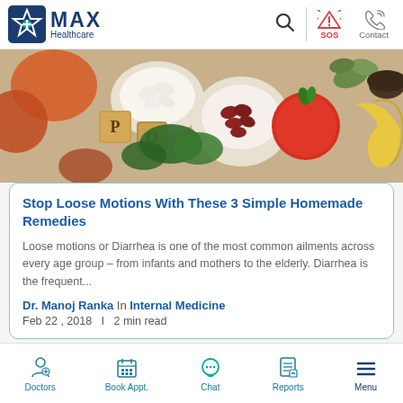MAX Healthcare
[Figure (photo): Food items including vegetables, legumes, tomatoes, bananas arranged on a table with wooden letter blocks spelling 'P' and 'O']
Stop Loose Motions With These 3 Simple Homemade Remedies
Loose motions or Diarrhea is one of the most common ailments across every age group – from infants and mothers to the elderly. Diarrhea is the frequent...
Dr. Manoj Ranka In Internal Medicine
Feb 22 , 2018   |   2 min read
Doctors  Book Appt.  Chat  Reports  Menu